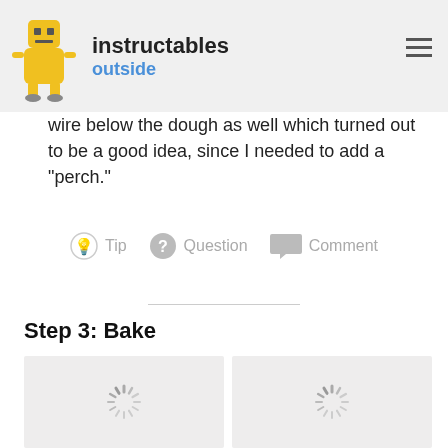instructables outside
wire below the dough as well which turned out to be a good idea, since I needed to add a "perch."
Tip   Question   Comment
Step 3: Bake
[Figure (photo): Loading placeholder image 1]
[Figure (photo): Loading placeholder image 2]